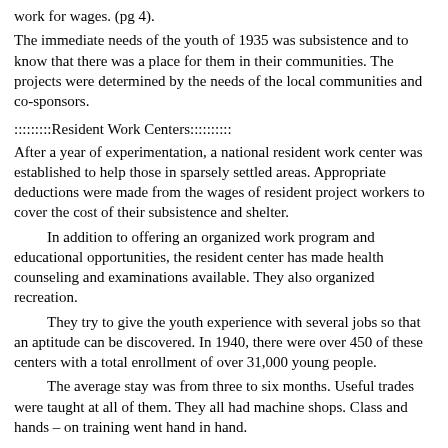work for wages. (pg 4). The immediate needs of the youth of 1935 was subsistence and to know that there was a place for them in their communities. The projects were determined by the needs of the local communities and co-sponsors.
:::::::::Resident Work Centers::::::::::
After a year of experimentation, a national resident work center was established to help those in sparsely settled areas. Appropriate deductions were made from the wages of resident project workers to cover the cost of their subsistence and shelter.
In addition to offering an organized work program and educational opportunities, the resident center has made health counseling and examinations available. They also organized recreation.
They try to give the youth experience with several jobs so that an aptitude can be discovered. In 1940, there were over 450 of these centers with a total enrollment of over 31,000 young people.
The average stay was from three to six months. Useful trades were taught at all of them. They all had machine shops. Class and hands – on training went hand in hand.
::::::::::Selection and Assignment of Youth on Out of School Projects::::::::::::
Originally from relief families, they had to register with